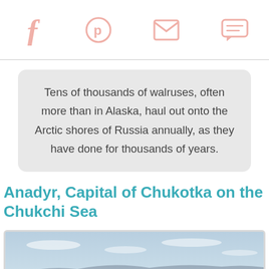Social share icons: Facebook, Pinterest, Email, Chat
Tens of thousands of walruses, often more than in Alaska, haul out onto the Arctic shores of Russia annually, as they have done for thousands of years.
Anadyr, Capital of Chukotka on the Chukchi Sea
[Figure (photo): Landscape photo showing arctic coastal scenery with hills, sea, and sky with scattered clouds]